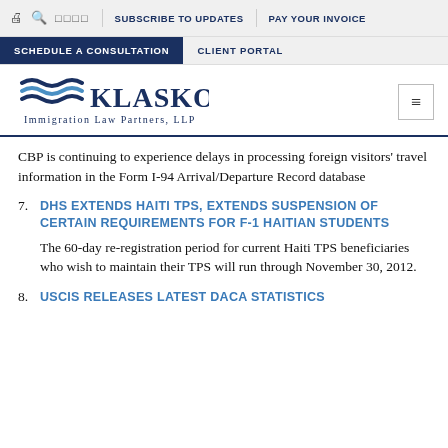SUBSCRIBE TO UPDATES   PAY YOUR INVOICE
SCHEDULE A CONSULTATION   CLIENT PORTAL
[Figure (logo): Klasko Immigration Law Partners, LLP logo with wave graphic]
CBP is continuing to experience delays in processing foreign visitors' travel information in the Form I-94 Arrival/Departure Record database
7. DHS EXTENDS HAITI TPS, EXTENDS SUSPENSION OF CERTAIN REQUIREMENTS FOR F-1 HAITIAN STUDENTS
The 60-day re-registration period for current Haiti TPS beneficiaries who wish to maintain their TPS will run through November 30, 2012.
8. USCIS RELEASES LATEST DACA STATISTICS